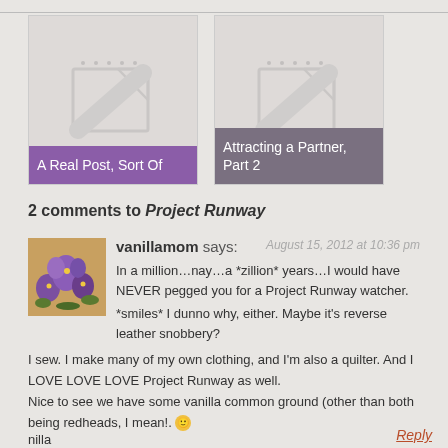[Figure (illustration): Blog post thumbnail card with notebook icon and purple label reading 'A Real Post, Sort Of']
[Figure (illustration): Blog post thumbnail card with notebook icon and gray label reading 'Attracting a Partner, Part 2']
2 comments to Project Runway
[Figure (photo): Avatar photo of commenter vanillamom showing purple flowers]
vanillamom says: August 15, 2012 at 10:36 pm
In a million…nay…a *zillion* years…I would have NEVER pegged you for a Project Runway watcher.
*smiles* I dunno why, either. Maybe it's reverse leather snobbery?
I sew. I make many of my own clothing, and I'm also a quilter. And I LOVE LOVE LOVE Project Runway as well.
Nice to see we have some vanilla common ground (other than both being redheads, I mean!. 🙂
nilla
Reply